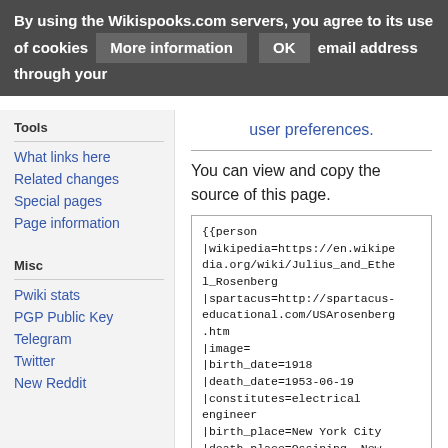By using the Wikispooks.com servers, you agree to its use of cookies   More information   OK   email address through your user preferences.
What links here
Related changes
Special pages
Page information
Pwiki stats
PGP Public Key
Telegram
Twitter
New Reddit
user preferences.
You can view and copy the source of this page.
{{person
|wikipedia=https://en.wikipedia.org/wiki/Julius_and_Ethel_Rosenberg
|spartacus=http://spartacus-educational.com/USArosenberg.htm
|image=
|birth_date=1918
|death_date=1953-06-19
|constitutes=electrical engineer
|birth_place=New York City
|death_place=Ossining, New York
|religion=Jewish
|children=Michael Meeropol, Robert Meeropol
|criminal_charges=Conspiracy to commit espionage